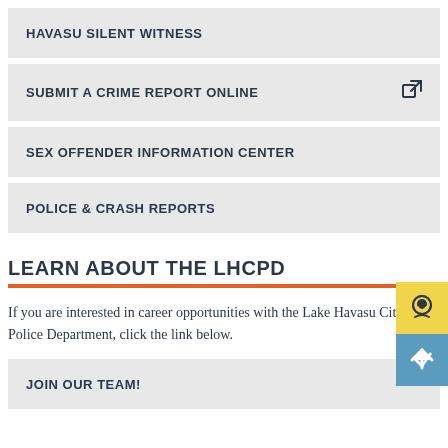HAVASU SILENT WITNESS
SUBMIT A CRIME REPORT ONLINE
SEX OFFENDER INFORMATION CENTER
POLICE & CRASH REPORTS
LEARN ABOUT THE LHCPD
If you are interested in career opportunities with the Lake Havasu City Police Department, click the link below.
JOIN OUR TEAM!